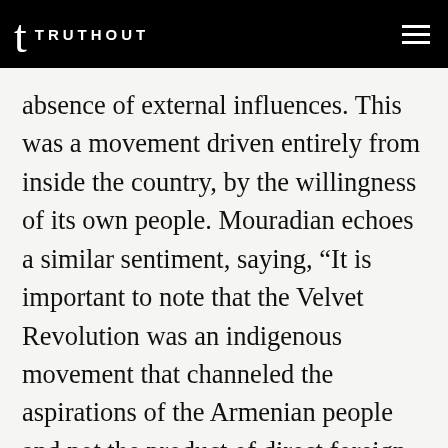TRUTHOUT
absence of external influences. This was a movement driven entirely from inside the country, by the willingness of its own people. Mouradian echoes a similar sentiment, saying, “It is important to note that the Velvet Revolution was an indigenous movement that channeled the aspirations of the Armenian people and not the product of direct foreign intervention.”
Of course, the possibility of foreign intervention remains a real concern in the wake of the Velvet